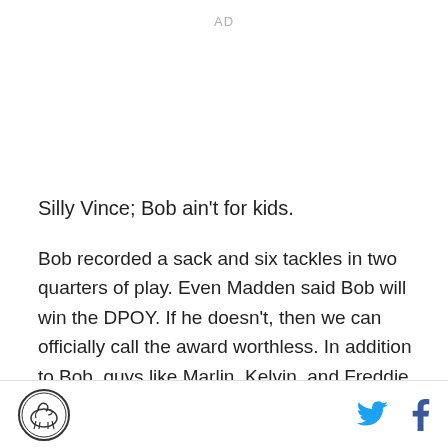AD
Silly Vince; Bob ain't for kids.
Bob recorded a sack and six tackles in two quarters of play. Even Madden said Bob will win the DPOY. If he doesn't, then we can officially call the award worthless. In addition to Bob, guys like Marlin, Kelvin, and Freddie continued to make big tackles in a season where they were the question marks going in. The running game